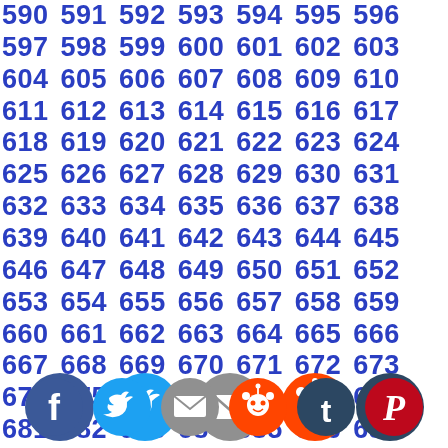590 591 592 593 594 595 596 597 598 599 600 601 602 603 604 605 606 607 608 609 610 611 612 613 614 615 616 617 618 619 620 621 622 623 624 625 626 627 628 629 630 631 632 633 634 635 636 637 638 639 640 641 642 643 644 645 646 647 648 649 650 651 652 653 654 655 656 657 658 659 660 661 662 663 664 665 666 667 668 669 670 671 672 673 674 675 676 677 678 679 680 681 682 683 684 685 686 687 688 689 690 691 692 693 694 695 696 697 698 699 700 701 702 703 704 705 706 707 708 709 710 711 712 713 714 715 716 717 718 719 720 721 722 723 724 725 726 727 728 729 730 731 732 733 734 735 736 737 738 739 740 741 742 743 744 745 746 747 748 749 750 751 752 753 754 755 756 757 758 759 760 761 762 763 764 765 766 767 768 769 770 771 772 773 774 775 776 777 778 779 780 781 782 783 784 785 786 787 788 789 790 791 792 793 794 795 796 797 798 799 800 801 802 803 804 805 806 807 808 809 810 811 812 813 814 815 816 817 818 819 820 821 822 823 824 825 826 827
[Figure (illustration): Row of 6 social media icons: Facebook (blue circle with f), Twitter (light blue circle with bird), Email/Mail (gray circle with envelope), Reddit (orange circle with alien), Tumblr (dark/black circle with t), Pinterest (red circle with P)]